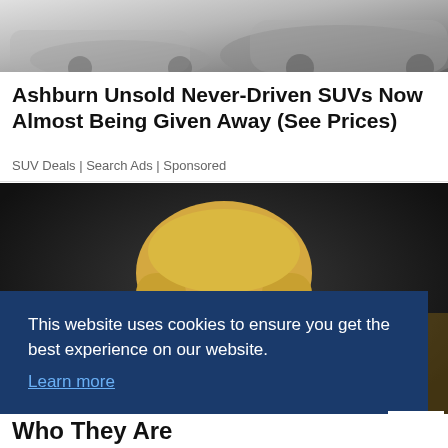[Figure (photo): Top portion of cars/SUVs, partially cropped, showing silver and dark vehicles on a marble or light surface]
Ashburn Unsold Never-Driven SUVs Now Almost Being Given Away (See Prices)
SUV Deals | Search Ads | Sponsored
[Figure (photo): Portrait of a blond woman, cropped at forehead level, against a dark background, with a cookie consent overlay banner]
This website uses cookies to ensure you get the best experience on our website.
Learn more
Got it!
- See
Who They Are